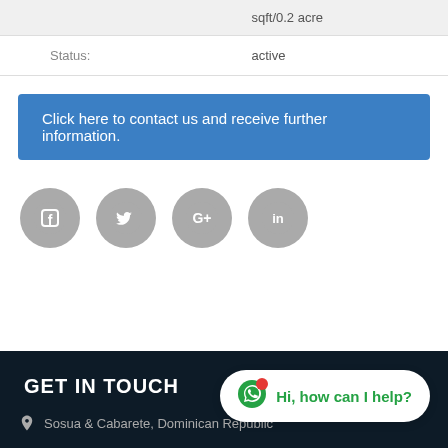|  | sqft/0.2 acre |
| Status: | active |
Click here to contact us and receive further information.
[Figure (illustration): Four gray circular social media icons: Facebook, Twitter, Google+, LinkedIn]
GET IN TOUCH
Sosua & Cabarete, Dominican Republic
Hi, how can I help?